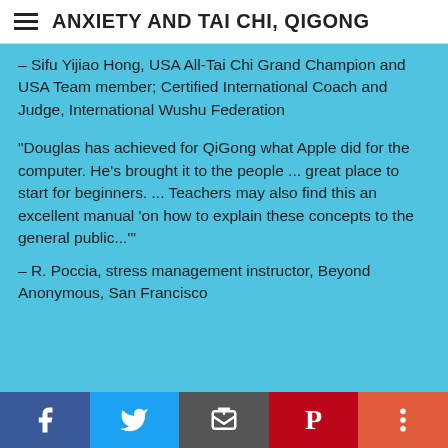ANXIETY AND TAI CHI, QIGONG
– Sifu Yijiao Hong, USA All-Tai Chi Grand Champion and USA Team member; Certified International Coach and Judge, International Wushu Federation
"Douglas has achieved for QiGong what Apple did for the computer. He's brought it to the people ... great place to start for beginners. ... Teachers may also find this an excellent manual 'on how to explain these concepts to the general public...'"
– R. Poccia, stress management instructor, Beyond Anonymous, San Francisco